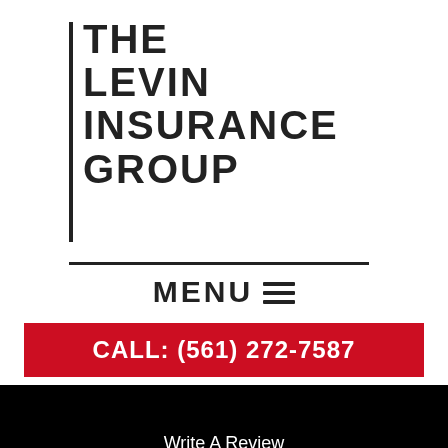[Figure (logo): The Levin Insurance Group logo with vertical bar on left and horizontal bar on bottom]
MENU ≡
CALL: (561) 272-7587
Write A Review
Our Insurance Carriers